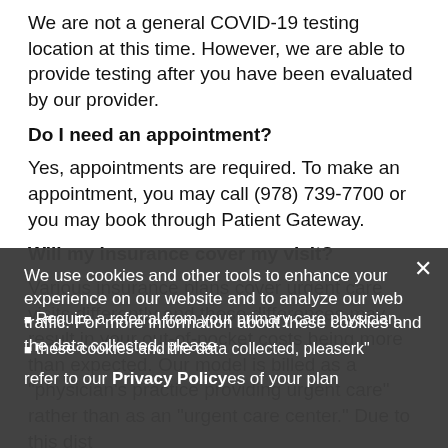We are not a general COVID-19 testing location at this time. However, we are able to provide testing after you have been evaluated by our provider.
Do I need an appointment?
Yes, appointments are required. To make an appointment, you may call (978) 739-7700 or you may book through Patient Gateway.
Will my insurance cover my visit?
Various insurance plans cover urgent care visits differently and these differences may result in your out-of-pocket costs being more than expected. Our model is billed as a "physician's practice providing urgent care" rather than as an "urgent care center." Due to this dist
We use cookies and other tools to enhance your experience on our website and to analyze our web traffic. For more information about these cookies and the data collected, please refer to our Privacy Policy
Require a referral from your primary care physician.
network